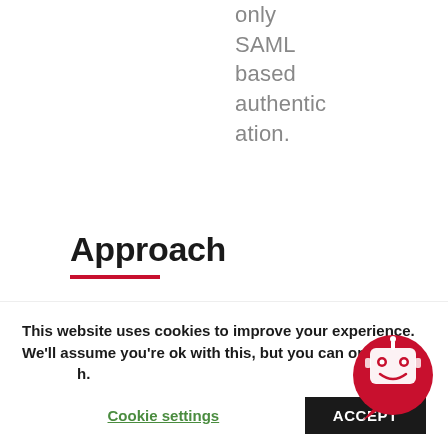only SAML based authentication.
Approach
Once a decision was made on the approach and design of the solution, iLink project management team prepared a proposal and submitted to the client. Once the client
This website uses cookies to improve your experience. We'll assume you're ok with this, but you can opt-out if you wish. Cookie settings ACCEPT